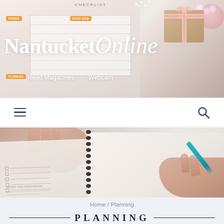[Figure (photo): Hero banner image with planning checklist papers, a calendar, a wrapped gift with pink bow, and flowers on the right. The NantucketOnline logo overlaid in white serif text with nav links 'Read Magazines' and 'Webcam'.]
Nantucket Online
Read Magazines  Webcam
[Figure (photo): Navigation bar with hamburger menu icon on left and search magnifying glass icon on right, white background.]
[Figure (photo): Full-width photo of hands working with a planning checklist and an open spiral-bound notebook, with a teal pen being held in right hand.]
Home / Planning
PLANNING